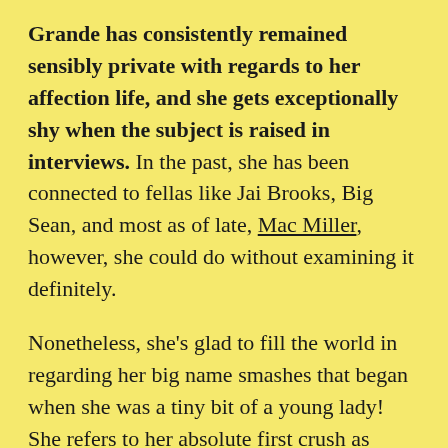Grande has consistently remained sensibly private with regards to her affection life, and she gets exceptionally shy when the subject is raised in interviews. In the past, she has been connected to fellas like Jai Brooks, Big Sean, and most as of late, Mac Miller, however, she could do without examining it definitely.

Nonetheless, she's glad to fill the world in regarding her big name smashes that began when she was a tiny bit of a young lady! She refers to her absolute first crush as Justin Timberlake, and can we just look at things objectively — who doesn't? Somewhat more strange is the smash that she used to have on